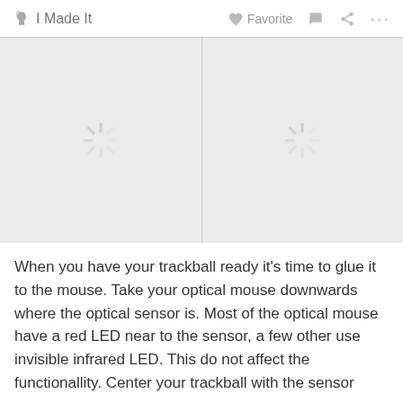I Made It   Favorite   ···
[Figure (photo): Two loading spinner icons shown in a two-column image placeholder area with gray background]
When you have your trackball ready it's time to glue it to the mouse. Take your optical mouse downwards where the optical sensor is. Most of the optical mouse have a red LED near to the sensor, a few other use invisible infrared LED. This do not affect the functionallity. Center your trackball with the sensor